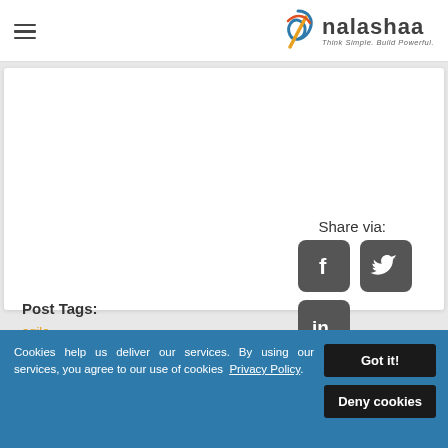nalashaa — Think Simple. Build Powerful.
Share via:
Post Tags:
agile
[Figure (logo): Facebook icon — dark grey rounded square with white 'f' logo]
[Figure (logo): Twitter icon — dark grey rounded square with white bird logo]
[Figure (logo): LinkedIn icon — dark grey rounded square with white 'in' logo]
Cookies help us deliver our services. By using our services, you agree to our use of cookies  Privacy Policy
Got it!
Deny cookies